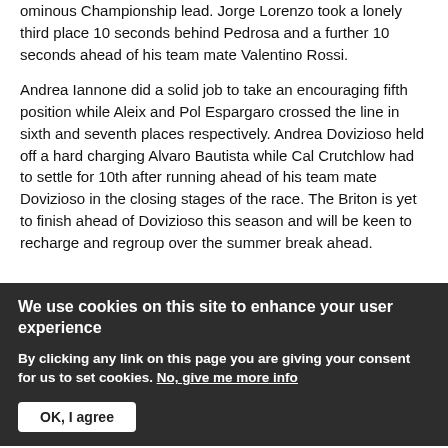ominous Championship lead. Jorge Lorenzo took a lonely third place 10 seconds behind Pedrosa and a further 10 seconds ahead of his team mate Valentino Rossi.
Andrea Iannone did a solid job to take an encouraging fifth position while Aleix and Pol Espargaro crossed the line in sixth and seventh places respectively. Andrea Dovizioso held off a hard charging Alvaro Bautista while Cal Crutchlow had to settle for 10th after running ahead of his team mate Dovizioso in the closing stages of the race. The Briton is yet to finish ahead of Dovizioso this season and will be keen to recharge and regroup over the summer break ahead.
We use cookies on this site to enhance your user experience
By clicking any link on this page you are giving your consent for us to set cookies. No, give me more info
OK, I agree